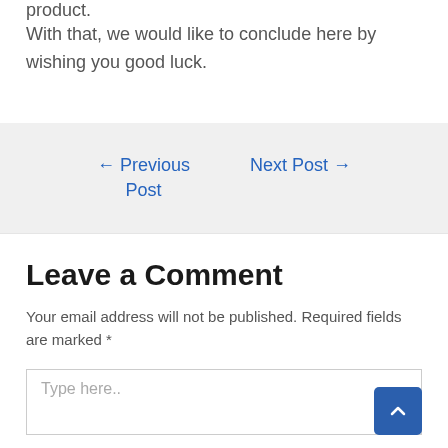product.
With that, we would like to conclude here by wishing you good luck.
← Previous Post
Next Post →
Leave a Comment
Your email address will not be published. Required fields are marked *
Type here..